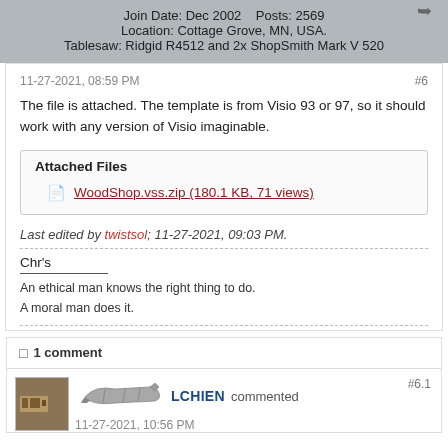Join Date: Dec 2002   Posts: 2569
Location: Cottage Grove, MN, USA.
Tablesaw: Ridgid R4512 and 2x ShopSmith Mark V 520
11-27-2021, 08:59 PM
#6
The file is attached. The template is from Visio 93 or 97, so it should work with any version of Visio imaginable.
| Attached Files |
| --- |
| WoodShop.vss.zip (180.1 KB, 71 views) |
Last edited by twistsol; 11-27-2021, 09:03 PM.
Chr's
An ethical man knows the right thing to do.
A moral man does it.
1 comment
LCHIEN commented
11-27-2021, 10:56 PM
#6.1